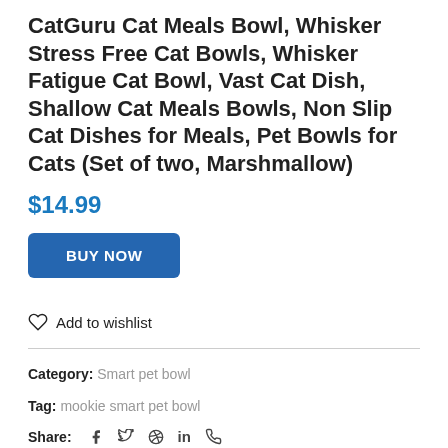CatGuru Cat Meals Bowl, Whisker Stress Free Cat Bowls, Whisker Fatigue Cat Bowl, Vast Cat Dish, Shallow Cat Meals Bowls, Non Slip Cat Dishes for Meals, Pet Bowls for Cats (Set of two, Marshmallow)
$14.99
BUY NOW
Add to wishlist
Category: Smart pet bowl
Tag: mookie smart pet bowl
Share: f  in